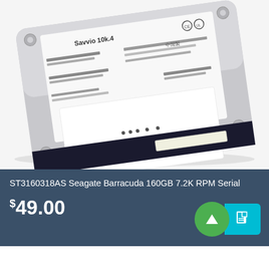[Figure (photo): Close-up photo of a Seagate Barracuda hard disk drive (HDD) showing the top label and metal casing against a white background. The label shows 'Savvio 10k.4' branding with various model numbers, serial numbers, regulatory marks (CE, UL), and Chinese text. The drive has a dark blue/black base with connector ports visible at the bottom.]
ST3160318AS Seagate Barracuda 160GB 7.2K RPM Serial
$49.00